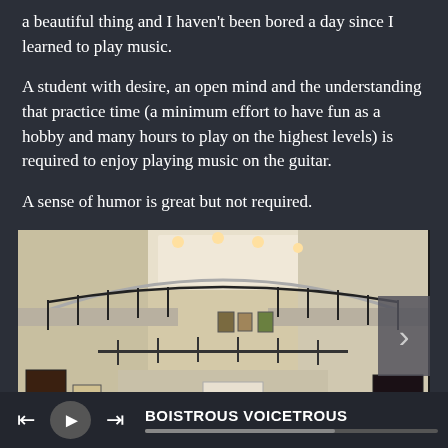a beautiful thing and I haven't been bored a day since I learned to play music.
A student with desire, an open mind and the understanding that practice time (a minimum effort to have fun as a hobby and many hours to play on the highest levels) is required to enjoy playing music on the guitar.
A sense of humor is great but not required.
[Figure (photo): Interior of an art gallery with a curved upper balcony with black railings, white walls with paintings, and an audience of people seated on the lower floor watching a performance or presentation.]
BOISTROUS VOICETROUS